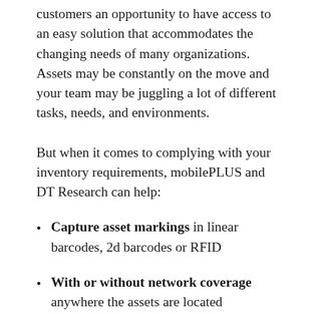customers an opportunity to have access to an easy solution that accommodates the changing needs of many organizations. Assets may be constantly on the move and your team may be juggling a lot of different tasks, needs, and environments.
But when it comes to complying with your inventory requirements, mobilePLUS and DT Research can help:
Capture asset markings in linear barcodes, 2d barcodes or RFID
With or without network coverage anywhere the assets are located